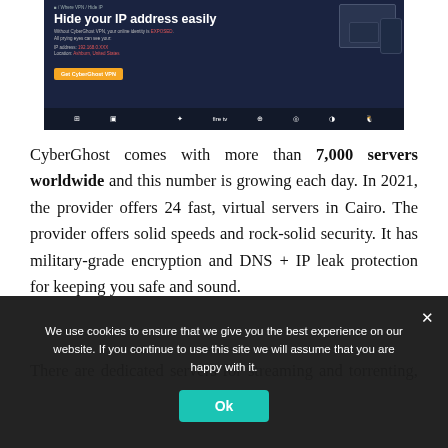[Figure (screenshot): CyberGhost VPN website screenshot showing 'Hide your IP address easily' banner with dark navy background, device graphics (monitor, tablet, phone), orange 'Get CyberGhost VPN' button, and platform icons at the bottom.]
CyberGhost comes with more than 7,000 servers worldwide and this number is growing each day. In 2021, the provider offers 24 fast, virtual servers in Cairo. The provider offers solid speeds and rock-solid security. It has military-grade encryption and DNS + IP leak protection for keeping you safe and sound.
There are dedicated servers for streaming and torrenting, and
We use cookies to ensure that we give you the best experience on our website. If you continue to use this site we will assume that you are happy with it.